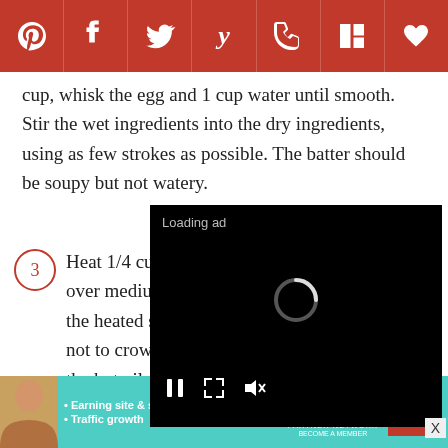[Figure (other): Social media sharing bar with Pinterest, Facebook, Twitter, Yummly, Flipboard, and heart/save icons on a dark red background]
cup, whisk the egg and 1 cup water until smooth. Stir the wet ingredients into the dry ingredients, using as few strokes as possible. The batter should be soupy but not watery.
3 Heat 1/4 cup of the oil in a cast-iron skillet over medium [heat. Pour batter into] the heated ski[llet by the tablespoonful,] not to crowd t[he fritters. When you drop] the hot oil, the[ batter into] very crisp.
[Figure (screenshot): Video player overlay showing Loading ad text, a spinner icon, and playback controls (pause, expand, mute) on a black background]
[Figure (infographic): Advertisement banner for SHE Media Partner Network with bullet points: Earning site & social revenue, Traffic growth. Includes Learn More button.]